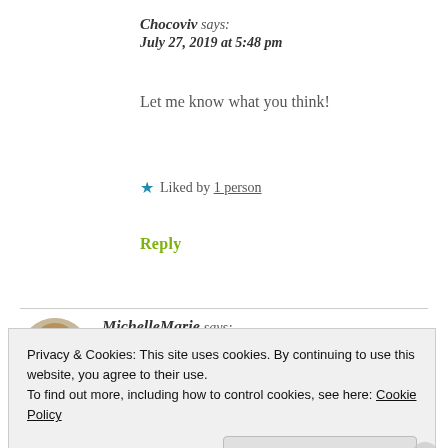Chocoviv says:
July 27, 2019 at 5:48 pm
Let me know what you think!
★ Liked by 1 person
Reply
MichelleMarie says:
Privacy & Cookies: This site uses cookies. By continuing to use this website, you agree to their use.
To find out more, including how to control cookies, see here: Cookie Policy
Close and accept